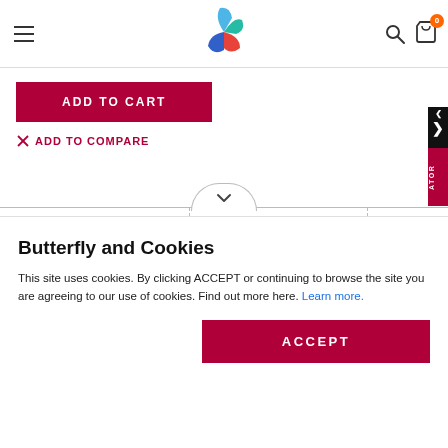[Figure (logo): Colorful abstract logo with blue, teal, red/orange shapes]
ADD TO CART
ADD TO COMPARE
[Figure (screenshot): Compare product panels with X close button and product thumbnail]
Butterfly and Cookies
This site uses cookies. By clicking ACCEPT or continuing to browse the site you are agreeing to our use of cookies. Find out more here. Learn more.
ACCEPT